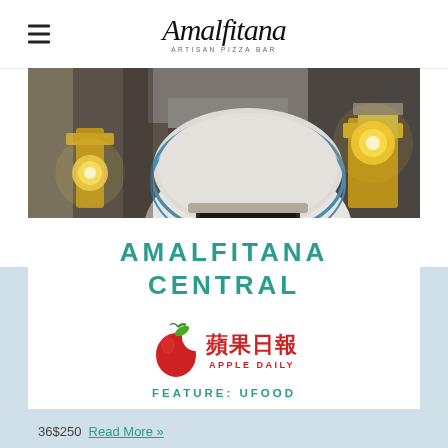Amalfitana Artisan Pizza Bar
[Figure (photo): Interior photo of Amalfitana restaurant showing a wood-fired pizza oven with decorative blue and white tile dome, brass wall sconces with warm glowing bulbs, and warm ambient lighting]
AMALFITANA CENTRAL
[Figure (logo): Apple Daily (蘋果日報) newspaper logo with red apple icon and Chinese/English text]
FEATURE: UFOOD
36$250 Read More »